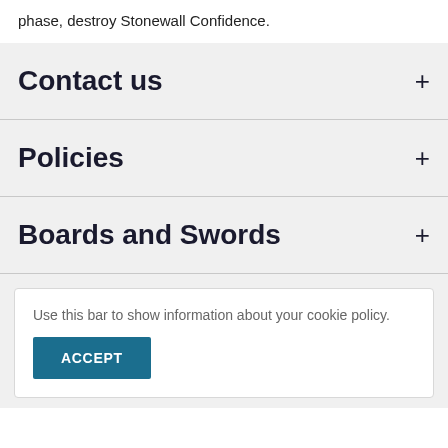phase, destroy Stonewall Confidence.
Contact us
Policies
Boards and Swords
Use this bar to show information about your cookie policy.
ACCEPT